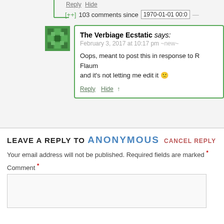Reply Hide
[++] 103 comments since 1970-01-01 00:0
The Verbiage Ecstatic says:
February 3, 2017 at 10:17 pm ~new~
Oops, meant to post this in response to R Flaum
and it's not letting me edit it 🙁
Reply Hide ↑
LEAVE A REPLY TO ANONYMOUS CANCEL REPLY
Your email address will not be published. Required fields are marked *
Comment *